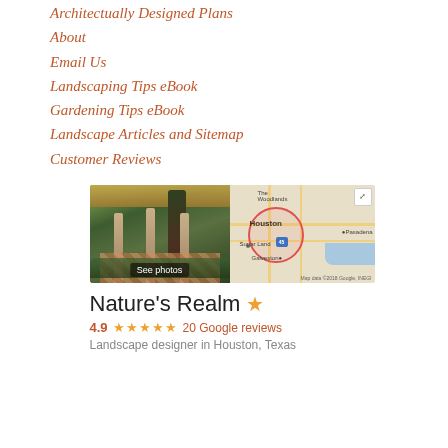Architectually Designed Plans
About
Email Us
Landscaping Tips eBook
Gardening Tips eBook
Landscape Articles and Sitemap
Customer Reviews
[Figure (photo): Left half: outdoor pergola with stone columns, brick pathway, and lush garden plants with 'See photos' overlay. Right half: Google map showing Houston, TX area with The Woodlands, Pasadena, Sugar Land, Galveston labeled; red circle centered on Houston; highway 45 marker; expand icon top-right; 'Map data ©2018 Google, INEGI' attribution bottom-right.]
Nature's Realm ★
4.9 ★★★★★ 20 Google reviews
Landscape designer in Houston, Texas